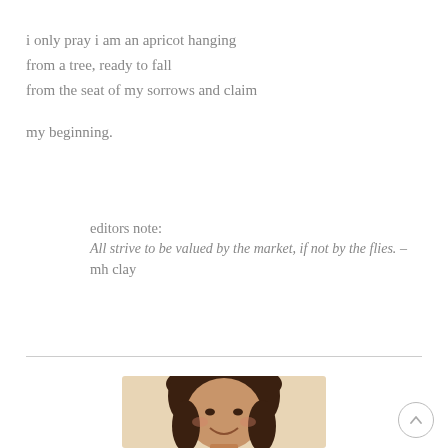i only pray i am an apricot hanging
from a tree, ready to fall
from the seat of my sorrows and claim

my beginning.
editors note:
All strive to be valued by the market, if not by the flies. –
mh clay
[Figure (photo): Portrait photograph of a smiling woman with long dark hair, cropped at the bottom of the page]